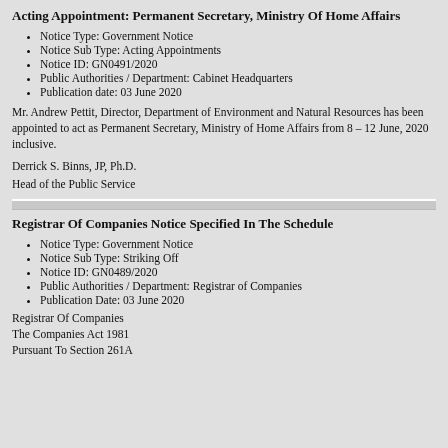Acting Appointment: Permanent Secretary, Ministry Of Home Affairs
Notice Type: Government Notice
Notice Sub Type: Acting Appointments
Notice ID: GN0491/2020
Public Authorities / Department: Cabinet Headquarters
Publication date: 03 June 2020
Mr. Andrew Pettit, Director, Department of Environment and Natural Resources has been appointed to act as Permanent Secretary, Ministry of Home Affairs from 8 – 12 June, 2020 inclusive.
Derrick S. Binns, JP, Ph.D.
Head of the Public Service
Registrar Of Companies Notice Specified In The Schedule
Notice Type: Government Notice
Notice Sub Type: Striking Off
Notice ID: GN0489/2020
Public Authorities / Department: Registrar of Companies
Publication Date: 03 June 2020
Registrar Of Companies
The Companies Act 1981
Pursuant To Section 261A